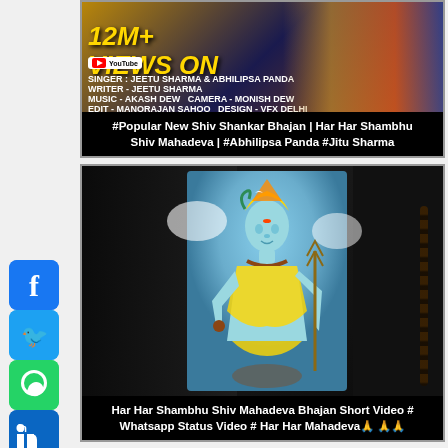[Figure (screenshot): YouTube thumbnail showing 12M+ views text in gold with singer credits, Jeetu Sharma and Abhilipsa Panda]
#Popular New Shiv Shankar Bhajan | Har Har Shambhu Shiv Mahadeva | #Abhilipsa Panda #Jitu Sharma
[Figure (screenshot): Lord Shiva illustration in the center against dark temple/ruins background]
Har Har Shambhu Shiv Mahadeva Bhajan Short Video # Whatsapp Status Video # Har Har Mahadeva 🙏🙏🙏
[Figure (screenshot): Dark video thumbnail showing a temple or monument in the center]
[Figure (other): Social media share sidebar with Facebook, Twitter, WhatsApp, LinkedIn, Pinterest, Telegram, More buttons]